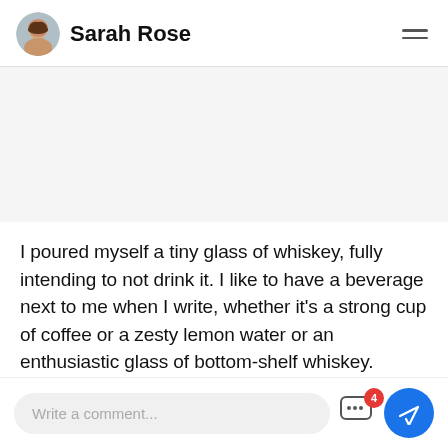Sarah Rose
[Figure (photo): Blank image placeholder area below the header]
I poured myself a tiny glass of whiskey, fully intending to not drink it. I like to have a beverage next to me when I write, whether it's a strong cup of coffee or a zesty lemon water or an enthusiastic glass of bottom-shelf whiskey.
Read full story >
Write a comment...